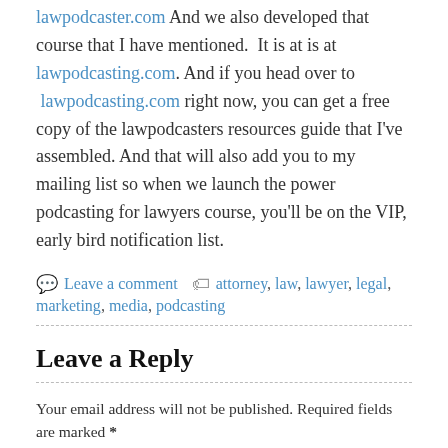lawpodcaster.com And we also developed that course that I have mentioned. It is at is at lawpodcasting.com. And if you head over to lawpodcasting.com right now, you can get a free copy of the lawpodcasters resources guide that I've assembled. And that will also add you to my mailing list so when we launch the power podcasting for lawyers course, you'll be on the VIP, early bird notification list.
Leave a comment  attorney, law, lawyer, legal, marketing, media, podcasting
Leave a Reply
Your email address will not be published. Required fields are marked *
Comment